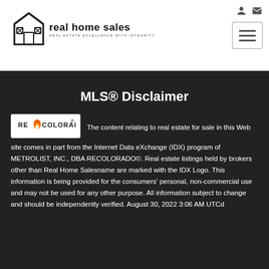[Figure (logo): Real Home Sales logo with house icon and text 'real home sales - REAL ESTATE EXCELLENCE WITH INTEGRITY']
MLS® Disclaimer
[Figure (logo): RECOLORADO logo badge - white background with orange flame icon]
The content relating to real estate for sale in this Web site comes in part from the Internet Data eXchange (IDX) program of METROLIST, INC., DBA RECOLORADO©. Real estate listings held by brokers other than Real Home Salesname are marked with the IDX Logo. This information is being provided for the consumers' personal, non-commercial use and may not be used for any other purpose. All information subject to change and should be independently verified. August 30, 2022 3:06 AM UTCd